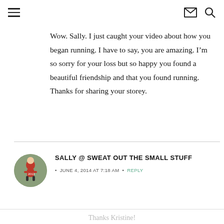Wow. Sally. I just caught your video about how you began running. I have to say, you are amazing. I’m so sorry for your loss but so happy you found a beautiful friendship and that you found running. Thanks for sharing your storey.
[Figure (photo): Circular avatar photo of a person wearing a red race shirt with a race bib, running in a race event.]
SALLY @ SWEAT OUT THE SMALL STUFF
JUNE 4, 2014 AT 7:18 AM • REPLY
Thanks Kristine!